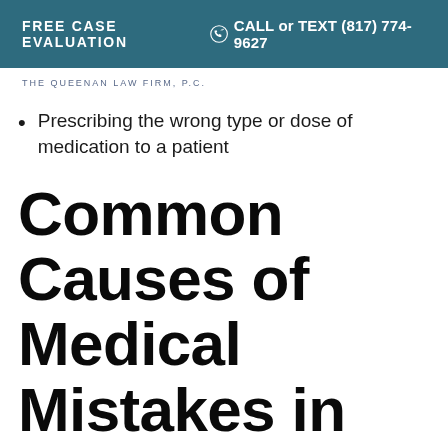FREE CASE EVALUATION | CALL or TEXT (817) 774-9627
THE QUEENAN LAW FIRM, P.C.
Prescribing the wrong type or dose of medication to a patient
Common Causes of Medical Mistakes in Houston, TX